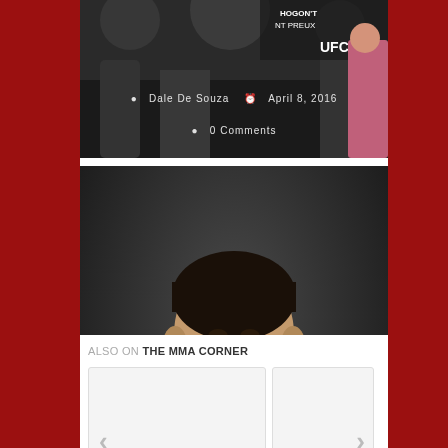[Figure (photo): Partially visible top article card showing UFC weigh-in scene with text overlay: Dale De Souza, April 8, 2016, 0 Comments]
Dale De Souza  April 8, 2016
0 Comments
[Figure (photo): MMA fighter with bloody face, dark background. Article card for 'Legacy FC 52: Schnell vs. Mai Live Recap and Results']
Legacy FC 52: Schnell vs. Mai Live Recap and Results
Dale De Souza  March 25, 2016
0 Comments
ALSO ON THE MMA CORNER
[Figure (screenshot): Two card thumbnails in 'Also On The MMA Corner' widget with left and right navigation arrows]